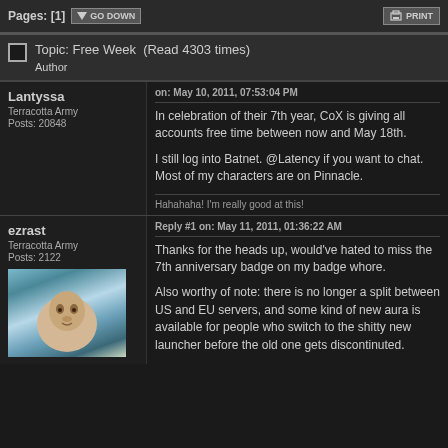Pages: [1] GO DOWN | PRINT
Topic: Free Week  (Read 4303 times)
Author
Lantyssa
Terracotta Army
Posts: 20848
on: May 10, 2011, 07:53:04 PM
In celebration of their 7th year, CoX is giving all accounts free time between now and May 18th.
I still log into Batnet.  @Latency if you want to chat.  Most of my characters are on Pinnacle.
Hahahaha!  I'm really good at this!
ezrast
Terracotta Army
Posts: 2122
Reply #1 on: May 11, 2011, 01:36:22 AM
Thanks for the heads up, would've hated to miss the 7th anniversary badge on my badge whore.
Also worthy of note: there is no longer a split between US and EU servers, and some kind of new aura is available for people who switch to the shitty new launcher before the old one gets discontinuted.